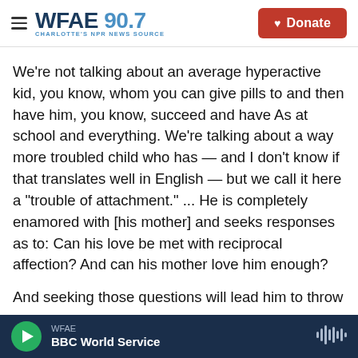WFAE 90.7 — CHARLOTTE'S NPR NEWS SOURCE | Donate
We're not talking about an average hyperactive kid, you know, whom you can give pills to and then have him, you know, succeed and have As at school and everything. We're talking about a way more troubled child who has — and I don't know if that translates well in English — but we call it here a "trouble of attachment." ... He is completely enamored with [his mother] and seeks responses as to: Can his love be met with reciprocal affection? And can his mother love him enough?
And seeking those questions will lead him to throw
WFAE | BBC World Service